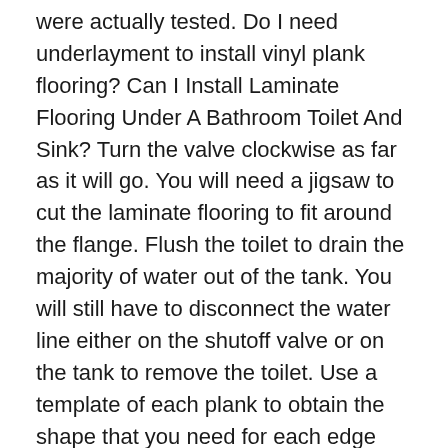were actually tested. Do I need underlayment to install vinyl plank flooring? Can I Install Laminate Flooring Under A Bathroom Toilet And Sink? Turn the valve clockwise as far as it will go. You will need a jigsaw to cut the laminate flooring to fit around the flange. Flush the toilet to drain the majority of water out of the tank. You will still have to disconnect the water line either on the shutoff valve or on the tank to remove the toilet. Use a template of each plank to obtain the shape that you need for each edge that will need to be cut to fit around the flange. It is also easie… Use your jigsaw to cut the pattern out of the laminate planks. The shutoff valve is usually located on the wall behind the toilet. The water pipe goes in the wall and isn't affected by the floor covering. Templates. Bathroom Flooring Ideas to Make Your Room Sparkle. You will have issues if the flooring is above the where the toilet sits. Estimate your tile cuts and cut parallel slits in the paper in these areas. Your floor will look professionally installed if you lay your laminate flooring underneath the toilet. Based in Oklahoma City, Debbie Tello has been working in the home